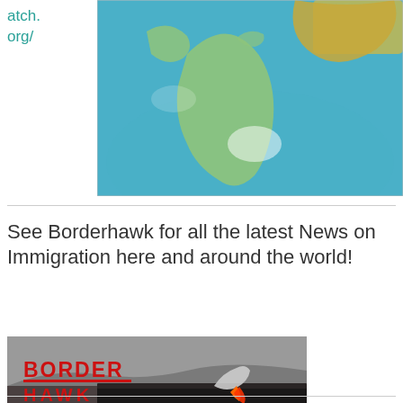atch.
org/
[Figure (photo): Globe image showing the Americas (North and South America) from a blue-green ocean perspective with some landmasses visible at the top right edge.]
See Borderhawk for all the latest News on Immigration here and around the world!
[Figure (logo): Borderhawk logo banner: dark/desolate border wall landscape with a bird figure launching with a flame tail. Text reads BORDER HAWK in bold red letters with underline stripes over a grey border landscape.]